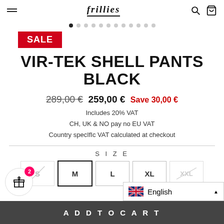Navigation bar with hamburger menu, logo, search and cart icons
[Figure (other): Dot navigation carousel indicator with first dot active]
SALE
VIR-TEK SHELL PANTS BLACK
289,00 €  259,00 €  Save 30,00 €
Includes 20% VAT
CH, UK & NO pay no EU VAT
Country specific VAT calculated at checkout
SIZE
S  M  L  XL  XXL
ADD TO CART
English